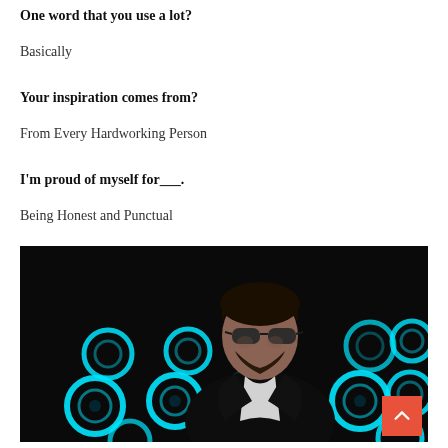One word that you use a lot?
Basically
Your inspiration comes from?
From Every Hardworking Person
I'm proud of myself for___.
Being Honest and Punctual
[Figure (photo): A man in a black suit and sunglasses posed against a dark background with glowing cyan circular stage lights]